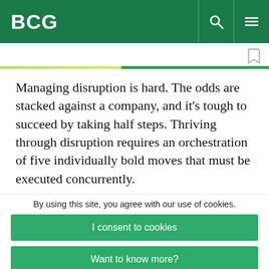BCG
Managing disruption is hard. The odds are stacked against a company, and it's tough to succeed by taking half steps. Thriving through disruption requires an orchestration of five individually bold moves that must be executed concurrently.
By using this site, you agree with our use of cookies.
I consent to cookies
Want to know more?
Read our Cookie Policy